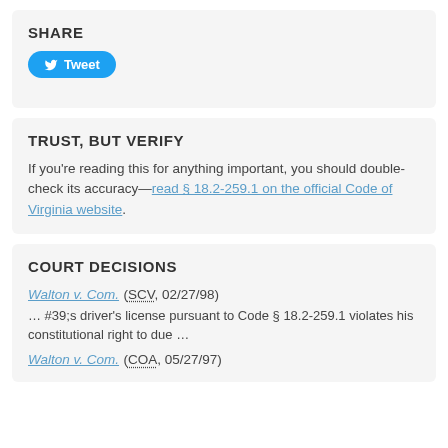SHARE
[Figure (other): Twitter Tweet button (blue rounded button with bird icon and 'Tweet' text)]
TRUST, BUT VERIFY
If you’re reading this for anything important, you should double-check its accuracy—read § 18.2-259.1 on the official Code of Virginia website.
COURT DECISIONS
Walton v. Com. (SCV, 02/27/98)
… #39;s driver's license pursuant to Code § 18.2-259.1 violates his constitutional right to due …
Walton v. Com. (COA, 05/27/97)